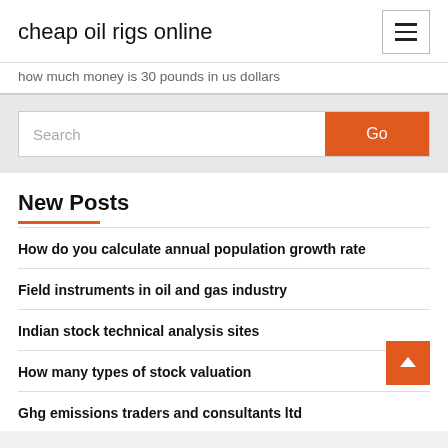cheap oil rigs online
how much money is 30 pounds in us dollars
Search
New Posts
How do you calculate annual population growth rate
Field instruments in oil and gas industry
Indian stock technical analysis sites
How many types of stock valuation
Ghg emissions traders and consultants ltd